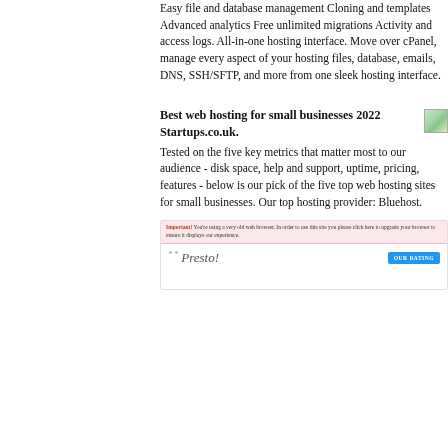Easy file and database management Cloning and templates Advanced analytics Free unlimited migrations Activity and access logs. All-in-one hosting interface. Move over cPanel, manage every aspect of your hosting files, database, emails, DNS, SSH/SFTP, and more from one sleek hosting interface.
Best web hosting for small businesses 2022 Startups.co.uk.
Tested on the five key metrics that matter most to our audience - disk space, help and support, uptime, pricing, features - below is our pick of the five top web hosting sites for small businesses. Our top hosting provider: Bluehost.
[Figure (screenshot): Screenshot of a Presto hosting advertisement with a pink warning banner and a blue 'OUR RATING' button]